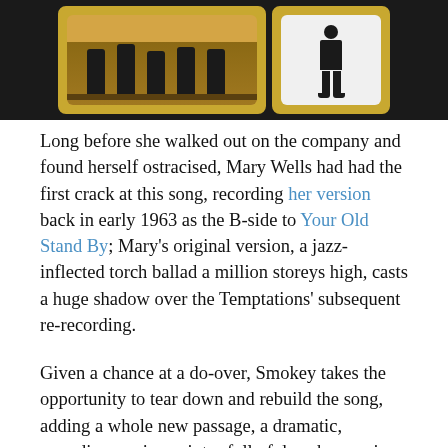[Figure (photo): Dark background with two framed images: left frame shows silhouettes of performers on a stage with a warm golden floor, right frame shows a single standing figure silhouette against a light background. Both frames have gold/yellow beveled borders on a dark background.]
Long before she walked out on the company and found herself ostracised, Mary Wells had had the first crack at this song, recording her version back in early 1963 as the B-side to Your Old Stand By; Mary's original version, a jazz-inflected torch ballad a million storeys high, casts a huge shadow over the Temptations' subsequent re-recording.
Given a chance at a do-over, Smokey takes the opportunity to tear down and rebuild the song, adding a whole new passage, a dramatic, pounding, ominous intro full of deep harmonies and string stings which grabs the